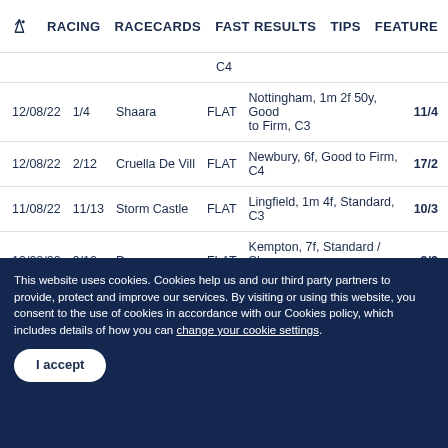RACING  RACECARDS  FAST RESULTS  TIPS  FEATURE
| Date | Pos | Horse | Type | Detail | Odds |
| --- | --- | --- | --- | --- | --- |
|  |  |  |  | C4 |  |
| 12/08/22 | 1/4 | Shaara | FLAT | Nottingham, 1m 2f 50y, Good to Firm, C3 | 11/4 |
| 12/08/22 | 2/12 | Cruella De Vill | FLAT | Newbury, 6f, Good to Firm, C4 | 17/2 |
| 11/08/22 | 11/13 | Storm Castle | FLAT | Lingfield, 1m 4f, Standard, C3 | 10/3 |
| 10/08/22 | 9/10 | Damaar | FLAT | Kempton, 7f, Standard / Slow, C4 | 9/2 |
This website uses cookies. Cookies help us and our third party partners to provide, protect and improve our services. By visiting or using this website, you consent to the use of cookies in accordance with our Cookies policy, which includes details of how you can change your cookie settings.
I accept